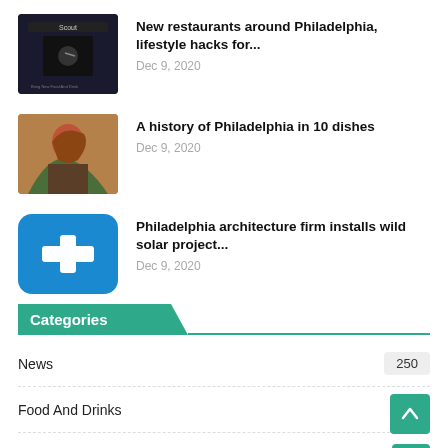[Figure (photo): Dark movie poster thumbnail with 'Scout' text]
New restaurants around Philadelphia, lifestyle hacks for...
Dec 9, 2020
[Figure (photo): Photo of person with red hair from behind]
A history of Philadelphia in 10 dishes
Dec 9, 2020
[Figure (logo): Blue rounded square icon with white plus sign]
Philadelphia architecture firm installs wild solar project...
Dec 9, 2020
Categories
News 250
Food And Drinks 78
Lifestyle 35